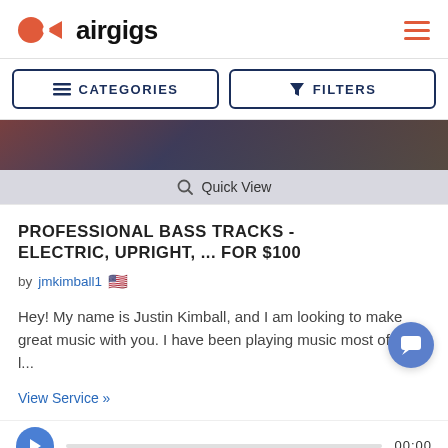[Figure (logo): AirGigs logo with orange circle and play button icon next to bold text 'airgigs']
CATEGORIES
FILTERS
[Figure (photo): Dark background image of musical instruments/studio equipment]
Quick View
PROFESSIONAL BASS TRACKS - ELECTRIC, UPRIGHT, ... FOR $100
by jmkimball1 🇺🇸
Hey! My name is Justin Kimball, and I am looking to make great music with you. I have been playing music most of my l...
View Service »
00:00